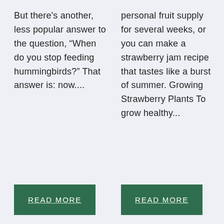But there's another, less popular answer to the question, “When do you stop feeding hummingbirds?” That answer is: now....
personal fruit supply for several weeks, or you can make a strawberry jam recipe that tastes like a burst of summer. Growing Strawberry Plants To grow healthy...
READ MORE
READ MORE